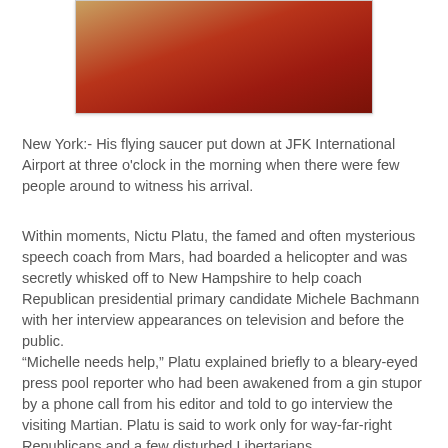[Figure (photo): Partial photo of a person wearing a red/pink top, cropped to show upper chest/shoulder area only, with warm background tones.]
New York:- His flying saucer put down at JFK International Airport at three o'clock in the morning when there were few people around to witness his arrival.
Within moments, Nictu Platu, the famed and often mysterious speech coach from Mars, had boarded a helicopter and was secretly whisked off to New Hampshire to help coach Republican presidential primary candidate Michele Bachmann with her interview appearances on television and before the public.
“Michelle needs help,” Platu explained briefly to a bleary-eyed press pool reporter who had been awakened from a gin stupor by a phone call from his editor and told to go interview the visiting Martian. Platu is said to work only for way-far-right Republicans and a few disturbed Libertarians.